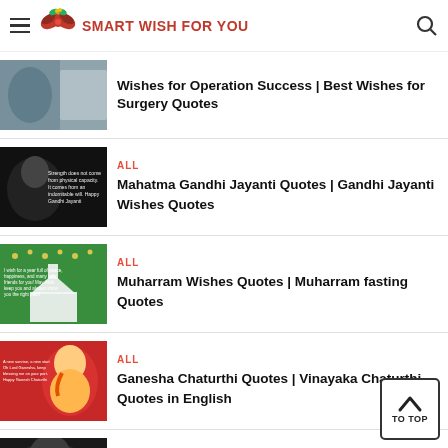Smart Wish For You
Wishes for Operation Success | Best Wishes for Surgery Quotes
ALL
Mahatma Gandhi Jayanti Quotes | Gandhi Jayanti Wishes Quotes
ALL
Muharram Wishes Quotes | Muharram fasting Quotes
ALL
Ganesha Chaturthi Quotes | Vinayaka Chaturthi Quotes in English
ALL